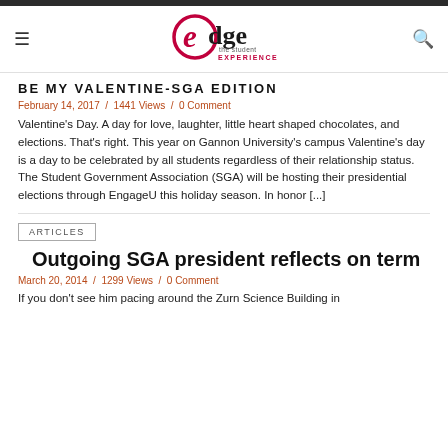[Figure (logo): Edge - The Student Experience logo with circular 'e' in red and black text]
BE MY VALENTINE-SGA EDITION
February 14, 2017 / 1441 Views / 0 Comment
Valentine's Day. A day for love, laughter, little heart shaped chocolates, and elections. That's right. This year on Gannon University's campus Valentine's day is a day to be celebrated by all students regardless of their relationship status. The Student Government Association (SGA) will be hosting their presidential elections through EngageU this holiday season. In honor [...]
ARTICLES
Outgoing SGA president reflects on term
March 20, 2014 / 1299 Views / 0 Comment
If you don't see him pacing around the Zurn Science Building in